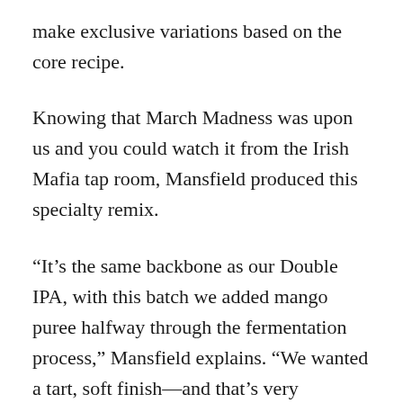make exclusive variations based on the core recipe.
Knowing that March Madness was upon us and you could watch it from the Irish Mafia tap room, Mansfield produced this specialty remix.
“It’s the same backbone as our Double IPA, with this batch we added mango puree halfway through the fermentation process,” Mansfield explains. “We wanted a tart, soft finish—and that’s very challenging in this style. There is a good nose (aroma), that comes from the puree. It has a floral